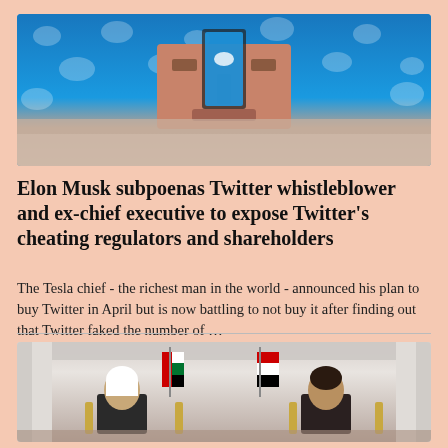[Figure (photo): Photo of Elon Musk surrounded by Twitter bird logos on a blue background, with a blurred lower section on a peach/salmon background]
Elon Musk subpoenas Twitter whistleblower and ex-chief executive to expose Twitter’s cheating regulators and shareholders
The Tesla chief - the richest man in the world - announced his plan to buy Twitter in April but is now battling to not buy it after finding out that Twitter faked the number of …
[Figure (photo): Photo of two dignitaries seated in ornate chairs flanked by UAE and Egyptian flags, with curtains in the background — a formal diplomatic meeting scene]